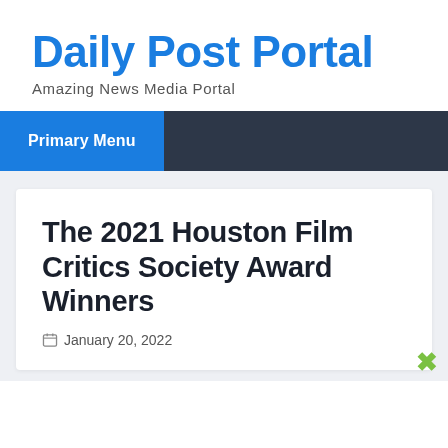Daily Post Portal
Amazing News Media Portal
Primary Menu
The 2021 Houston Film Critics Society Award Winners
January 20, 2022